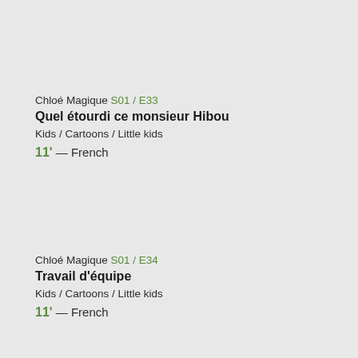Chloé Magique S01 / E33
Quel étourdi ce monsieur Hibou
Kids / Cartoons / Little kids
11' — French
Chloé Magique S01 / E34
Travail d'équipe
Kids / Cartoons / Little kids
11' — French